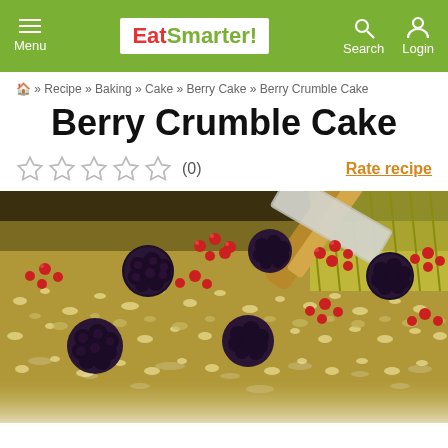EatSmarter! — Menu | Search | Login
🏠 » Recipe » Baking » Cake » Berry Cake » Berry Crumble Cake
Berry Crumble Cake
☆ ☆ ☆ ☆ ☆ (0)   Rate recipe
[Figure (photo): Close-up photo of a Berry Crumble Cake topped with blackberries and red currants, dusted with powdered sugar, on a baking tray with a cake server.]